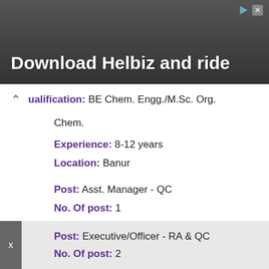[Figure (photo): Advertisement banner with dark background showing a person and the text 'Download Helbiz and ride']
Qualification: BE Chem. Engg./M.Sc. Org. Chem.
Experience: 8-12 years
Location: Banur
Post: Asst. Manager - QC
No. Of post: 1
Qualification: BE Chem. Engg./M.Sc. Org. Chem.
Experience: 8-10 years
Location: Banur
Post: Executive/Officer - RA & QC
No. Of post: 2